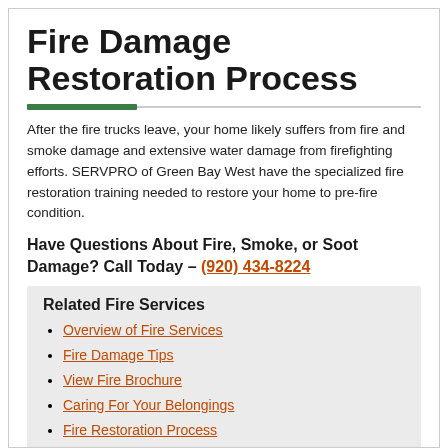Fire Damage Restoration Process
After the fire trucks leave, your home likely suffers from fire and smoke damage and extensive water damage from firefighting efforts. SERVPRO of Green Bay West have the specialized fire restoration training needed to restore your home to pre-fire condition.
Have Questions About Fire, Smoke, or Soot Damage? Call Today – (920) 434-8224
Related Fire Services
Overview of Fire Services
Fire Damage Tips
View Fire Brochure
Caring For Your Belongings
Fire Restoration Process
Water Damage Restoration